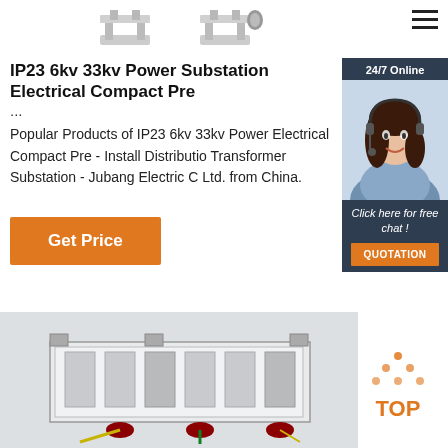[Figure (photo): Two metal bracket/clamp hardware parts shown at top of page]
IP23 6kv 33kv Power Substation Electrical Compact Pre ...
Popular Products of IP23 6kv 33kv Power Electrical Compact Pre - Install Distribution Transformer Substation - Jubang Electric Co., Ltd. from China.
[Figure (photo): Customer service agent woman with headset - 24/7 Online chat sidebar]
[Figure (photo): Electrical transformer/substation unit product photo at bottom of page]
[Figure (logo): TOP badge/logo with orange dots forming triangle shape]